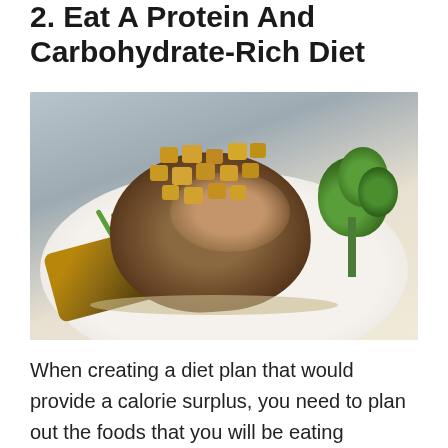2. Eat A Protein And Carbohydrate-Rich Diet
[Figure (photo): A plated dish featuring a grilled meat (pork chop or chicken) topped with diced potatoes/apples, served alongside broccoli, roasted potato wedges, and scallions on a white plate with a light sauce, photographed from above on a gray background.]
When creating a diet plan that would provide a calorie surplus, you need to plan out the foods that you will be eating carefully. Opting for single foods from